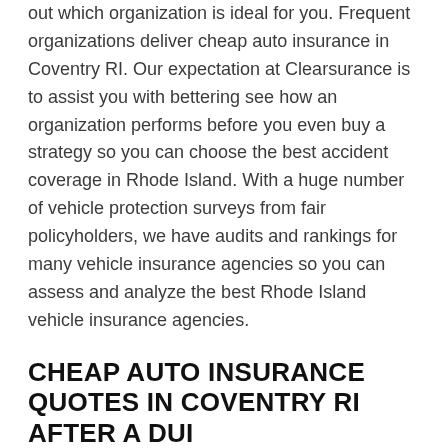out which organization is ideal for you. Frequent organizations deliver cheap auto insurance in Coventry RI. Our expectation at Clearsurance is to assist you with bettering see how an organization performs before you even buy a strategy so you can choose the best accident coverage in Rhode Island. With a huge number of vehicle protection surveys from fair policyholders, we have audits and rankings for many vehicle insurance agencies so you can assess and analyze the best Rhode Island vehicle insurance agencies.
CHEAP AUTO INSURANCE QUOTES IN COVENTRY RI AFTER A DUI
Rates can differ by hundreds between transporters after a DUI, and some punished for more than others, so look at the best accessible cost just after you see a value climb and every year after that.
A conviction for driving impaired, or DUI, by and large outcomes in higher accident protection expenses than previously. Examine